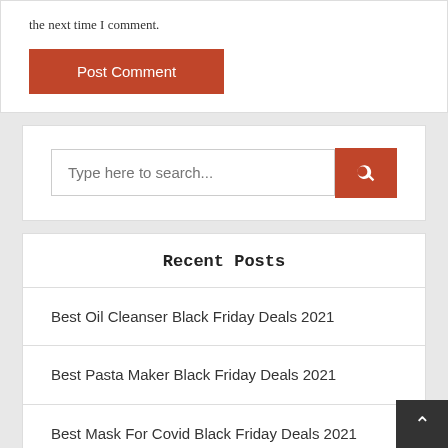the next time I comment.
Post Comment
[Figure (screenshot): Search input box with placeholder 'Type here to search...' and a red search button with magnifying glass icon]
Recent Posts
Best Oil Cleanser Black Friday Deals 2021
Best Pasta Maker Black Friday Deals 2021
Best Mask For Covid Black Friday Deals 2021